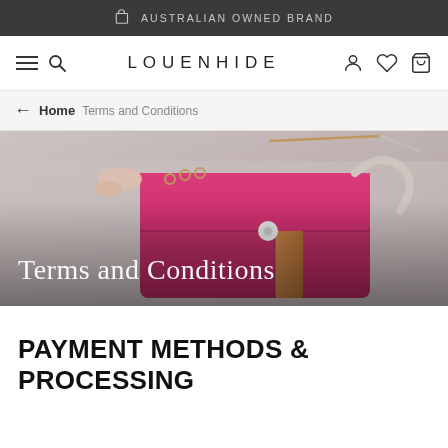AUSTRALIAN OWNED BRAND
[Figure (screenshot): Navigation bar with hamburger menu, search icon, LOUENHIDE logo, account icon, wishlist/heart icon, and cart/bag icon]
Home > Terms and Conditions
[Figure (photo): Hero banner showing a pink/magenta crossbody handbag with tan strap and gold chain held by a person wearing a white knit sweater, with overlay text 'Terms and Conditions']
PAYMENT METHODS & PROCESSING